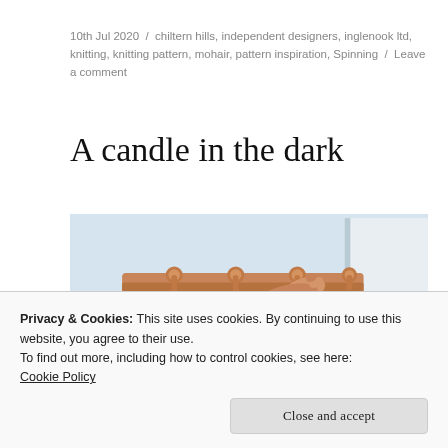10th Jul 2020  /  chiltern hills, independent designers, inglenook ltd, knitting, knitting pattern, mohair, pattern inspiration, Spinning  /  Leave a comment
A candle in the dark
[Figure (photo): A wooden coat rack with round pegs mounted on a wall, with a hand reaching to hang something on one of the pegs.]
Privacy & Cookies: This site uses cookies. By continuing to use this website, you agree to their use.
To find out more, including how to control cookies, see here: Cookie Policy
Close and accept